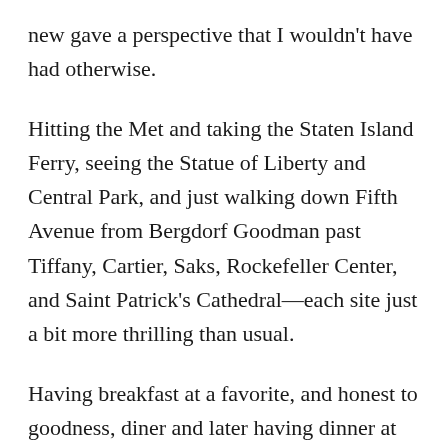new gave a perspective that I wouldn't have had otherwise.
Hitting the Met and taking the Staten Island Ferry, seeing the Statue of Liberty and Central Park, and just walking down Fifth Avenue from Bergdorf Goodman past Tiffany, Cartier, Saks, Rockefeller Center, and Saint Patrick's Cathedral—each site just a bit more thrilling than usual.
Having breakfast at a favorite, and honest to goodness, diner and later having dinner at the restaurant I always go to in New York, dating back to when serving cocktails to an 18 year old on his first trip north of the Mason-Dixon line was still legal.  Remembering all the friends over the years that I've been there with, and perhaps having a nightcap down the street at the Algonquin, where the spirit of Dorothy Parker is